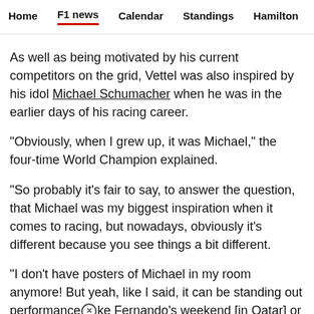Home  F1 news  Calendar  Standings  Hamilton
As well as being motivated by his current competitors on the grid, Vettel was also inspired by his idol Michael Schumacher when he was in the earlier days of his racing career.
"Obviously, when I grew up, it was Michael," the four-time World Champion explained.
"So probably it's fair to say, to answer the question, that Michael was my biggest inspiration when it comes to racing, but nowadays, obviously it's different because you see things a bit different.
"I don't have posters of Michael in my room anymore! But yeah, like I said, it can be standing out performance like Fernando's weekend [in Qatar] or others."
It...it is...Alonso also inspired the reading for the first ti...